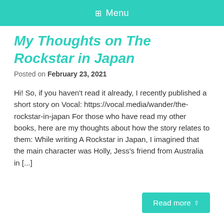Menu
My Thoughts on The Rockstar in Japan
Posted on February 23, 2021
Hi! So, if you haven't read it already, I recently published a short story on Vocal: https://vocal.media/wander/the-rockstar-in-japan For those who have read my other books, here are my thoughts about how the story relates to them: While writing A Rockstar in Japan, I imagined that the main character was Holly, Jess's friend from Australia in [...]
Read more